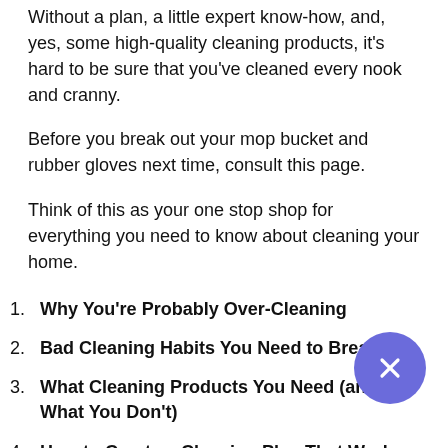Without a plan, a little expert know-how, and, yes, some high-quality cleaning products, it's hard to be sure that you've cleaned every nook and cranny.
Before you break out your mop bucket and rubber gloves next time, consult this page.
Think of this as your one stop shop for everything you need to know about cleaning your home.
Why You're Probably Over-Cleaning
Bad Cleaning Habits You Need to Break
What Cleaning Products You Need (and What You Don't)
How to Create a Cleaning Plan That Works for You
The 2 Things You Need to Clean Every Day